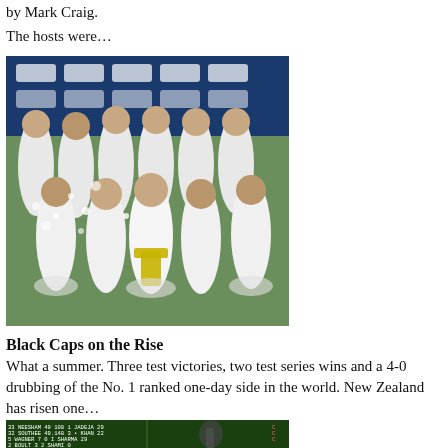by Mark Craig.
The hosts were…
[Figure (photo): New Zealand Black Caps cricket team celebrating with champagne spray, players in white cricket uniforms posing together on a grass field in front of a sponsor backdrop.]
Black Caps on the Rise
What a summer. Three test victories, two test series wins and a 4-0 drubbing of the No. 1 ranked one-day side in the world. New Zealand has risen one…
[Figure (photo): Cricket scoreboard showing player statistics including NEESHAM, SOUTHEE, WAGNER, BOULT, EXTRAS on one side and JADEJA, KHAN, I SHARMA, SHAMI, EXTRAS on the other, with a batsman visible in the foreground.]